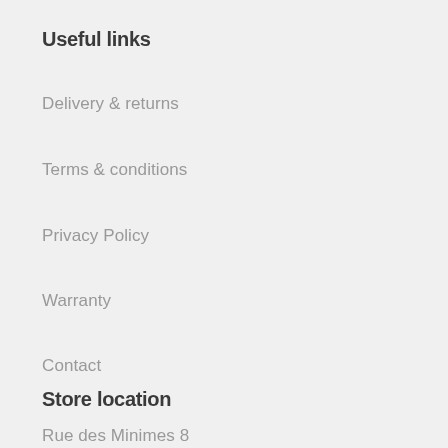Useful links
Delivery & returns
Terms & conditions
Privacy Policy
Warranty
Contact
Store location
Rue des Minimes 8